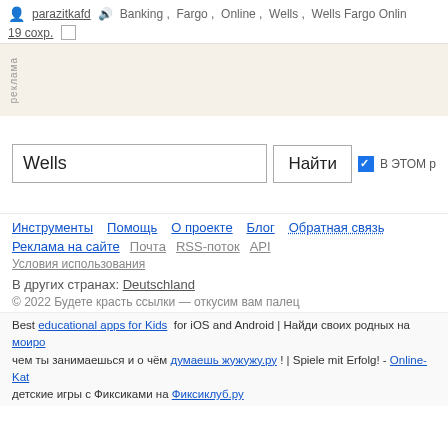parazitkafd  Banking, Fargo, Online, Wells, Wells Fargo Online  19 сохр.
[Figure (screenshot): Advertisement placeholder block with 'реклама' label on left side]
[Figure (screenshot): Search box with text 'Wells', a 'Найти' button, a blue checkbox and text 'В ЭТОМ р']
Инструменты  Помощь  О проекте  Блог  Обратная связь
Реклама на сайте  Почта  RSS-поток  API
Условия использования
В других странах: Deutschland
© 2022 Будете красть ссылки — откусим вам палец
Best educational apps for Kids for iOS and Android | Найди своих родных на моиро чем ты занимаешься и о чём думаешь жужужу.ру ! | Spiele mit Erfolg! - Online-Kat детские игры с Фиксиками на Фиксиклуб.ру